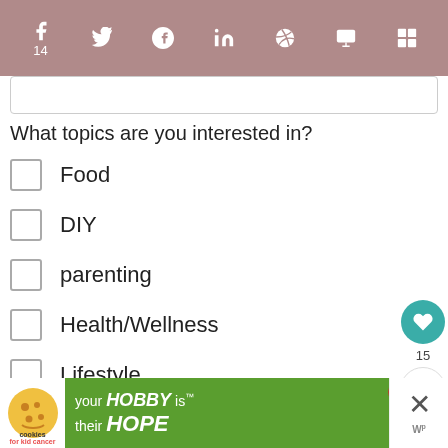Social share bar with icons: f 14, Twitter, Pinterest, LinkedIn, Reddit, Flipboard, Mix
What topics are you interested in?
Food
DIY
parenting
Health/Wellness
Lifestyle
Photography
Successful Blogging
Utah bonuses
[Figure (screenshot): Advertisement banner: cookies for kid cancer / your HOBBY is their HOPE]